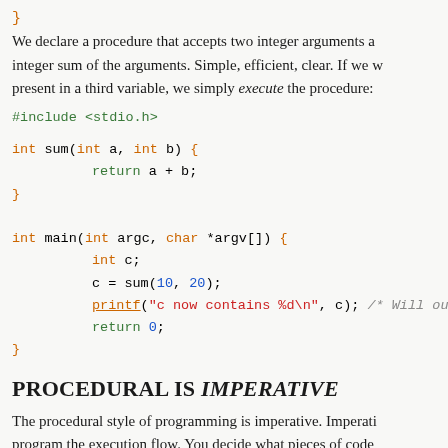} We declare a procedure that accepts two integer arguments a integer sum of the arguments. Simple, efficient, clear. If we w present in a third variable, we simply execute the procedure:
PROCEDURAL IS IMPERATIVE
The procedural style of programming is imperative. Imperati program the execution flow. You decide what pieces of code control structures, loops, procedures, etcetera, and the state o "context" or "environment") ultimately define the execution